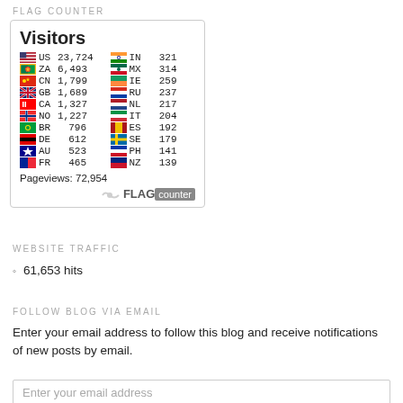FLAG COUNTER
[Figure (infographic): Flag Counter widget showing visitor counts by country. Visitors: US 23,724 | IN 321 | ZA 6,493 | MX 314 | CN 1,799 | IE 259 | GB 1,689 | RU 237 | CA 1,327 | NL 217 | NO 1,227 | IT 204 | BR 796 | ES 192 | DE 612 | SE 179 | AU 523 | PH 141 | FR 465 | NZ 139 | Pageviews: 72,954]
WEBSITE TRAFFIC
61,653 hits
FOLLOW BLOG VIA EMAIL
Enter your email address to follow this blog and receive notifications of new posts by email.
Enter your email address